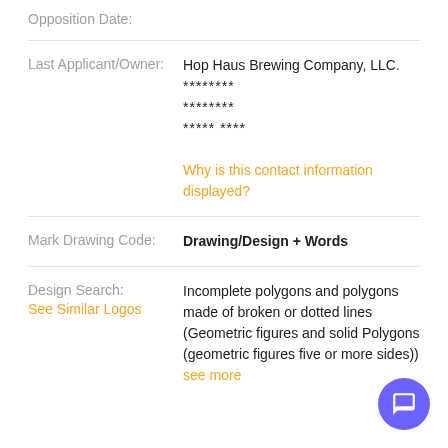Opposition Date:
Last Applicant/Owner:
Hop Haus Brewing Company, LLC.
********
********
***** ****
Why is this contact information displayed?
Mark Drawing Code:
Drawing/Design + Words
Design Search:
See Similar Logos
Incomplete polygons and polygons made of broken or dotted lines (Geometric figures and solid Polygons (geometric figures five or more sides)) see more